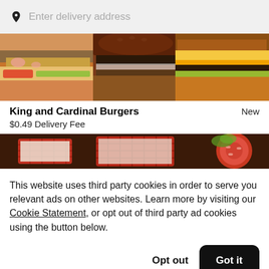Enter delivery address
[Figure (photo): Photo of burgers: fried chicken sandwich, juicy burger with dark bun, and cheeseburger with yellow cheddar]
King and Cardinal Burgers
New
$0.49 Delivery Fee
[Figure (photo): Partial photo of food in red baskets on a table]
This website uses third party cookies in order to serve you relevant ads on other websites. Learn more by visiting our Cookie Statement, or opt out of third party ad cookies using the button below.
Opt out
Got it